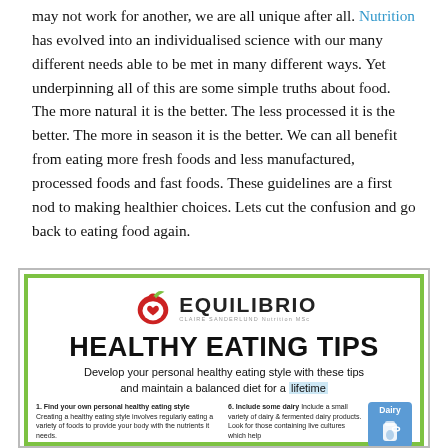may not work for another, we are all unique after all. Nutrition has evolved into an individualised science with our many different needs able to be met in many different ways. Yet underpinning all of this are some simple truths about food. The more natural it is the better. The less processed it is the better. The more in season it is the better. We can all benefit from eating more fresh foods and less manufactured, processed foods and fast foods. These guidelines are a first nod to making healthier choices. Lets cut the confusion and go back to eating food again.
[Figure (infographic): Equilibrio Healthy Eating Tips infographic with logo, title 'HEALTHY EATING TIPS', subtitle 'Develop your personal healthy eating style with these tips and maintain a balanced diet for a lifetime', and tip sections including '1. Find your own personal healthy eating style' and '6. Include some dairy' with a dairy icon.]